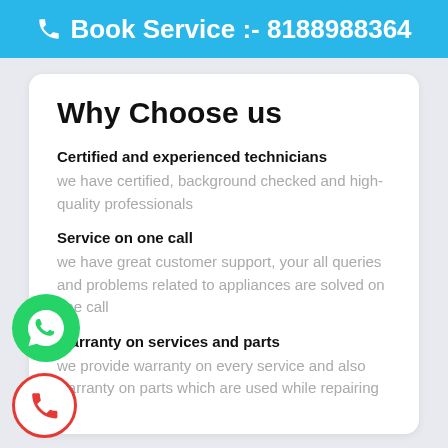Book Service :- 8188988364
Why Choose us
Certified and experienced technicians
we have certified, background checked and high-quality professionals
Service on one call
we have great customer support, your all queries and problems related to appliances are solved on one call
Warranty on services and parts
we provide warranty on every service and also warranty on parts which are used while repairing
[Figure (logo): WhatsApp green circular icon]
[Figure (logo): Phone call red circular icon]